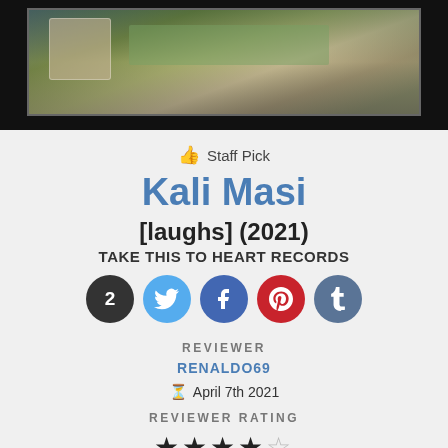[Figure (photo): Top banner showing a colorful album cover or band photo with dark background framing]
Staff Pick
Kali Masi
[laughs] (2021)
TAKE THIS TO HEART RECORDS
[Figure (infographic): Social share icons: count badge (2), Twitter, Facebook, Pinterest, Tumblr]
REVIEWER
RENALDO69
April 7th 2021
REVIEWER RATING
[Figure (infographic): 4 out of 5 stars rating]
LOGIN TO RATE